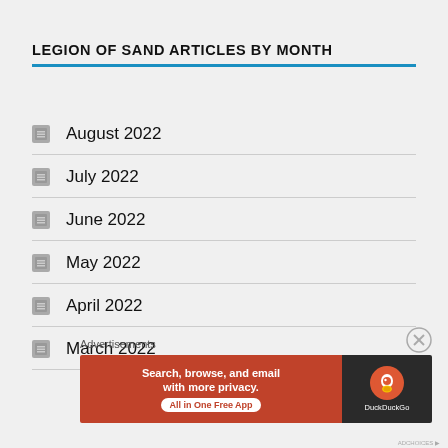LEGION OF SAND ARTICLES BY MONTH
August 2022
July 2022
June 2022
May 2022
April 2022
March 2022
Advertisements
[Figure (other): DuckDuckGo advertisement banner: 'Search, browse, and email with more privacy. All in One Free App' with DuckDuckGo logo on dark background]